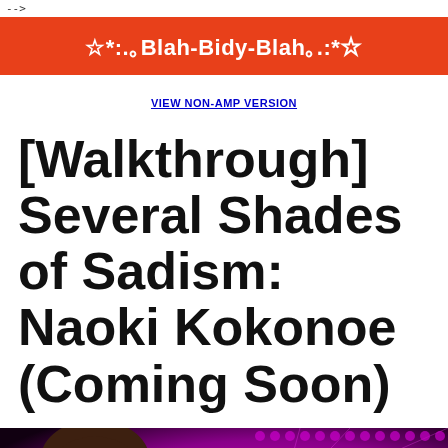-->
☆*:.｡Blah-Bidy-Blah｡.:*☆
VIEW NON-AMP VERSION
[Walkthrough] Several Shades of Sadism: Naoki Kokonoe (Coming Soon)
[Figure (illustration): Anime-style illustration of a male character (Naoki Kokonoe) with brown hair and reddish-pink eyes, with pink and black background and the text 'Naoki Koko...' visible]